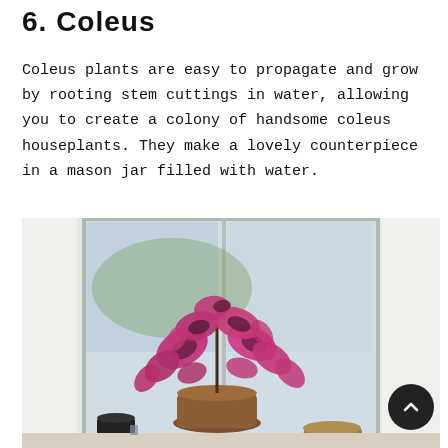6. Coleus
Coleus plants are easy to propagate and grow by rooting stem cuttings in water, allowing you to create a colony of handsome coleus houseplants. They make a lovely counterpiece in a mason jar filled with water.
[Figure (photo): A coleus plant with vibrant purple-pink and dark green leaves in a terracotta pot sitting on a windowsill, flanked by white sheer curtains. A smaller black pot and woven basket are also visible on the windowsill.]